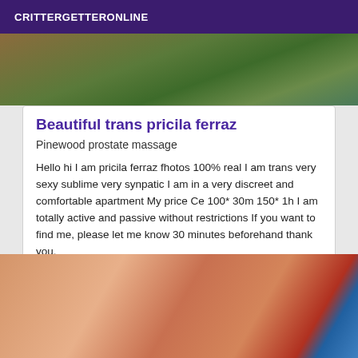CRITTERGETTERONLINE
[Figure (photo): Top portion of a person outdoors with green foliage background]
Beautiful trans pricila ferraz
Pinewood prostate massage
Hello hi I am pricila ferraz fhotos 100% real I am trans very sexy sublime very synpatic I am in a very discreet and comfortable apartment My price Ce 100* 30m 150* 1h I am totally active and passive without restrictions If you want to find me, please let me know 30 minutes beforehand thank you.
[Figure (photo): Close-up photo of a person with red and blue fabric/clothing visible]